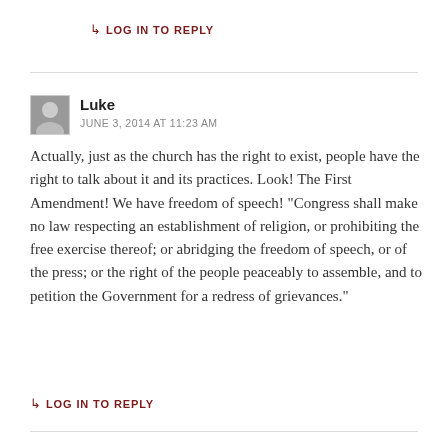↳ LOG IN TO REPLY
Luke
JUNE 3, 2014 AT 11:23 AM
Actually, just as the church has the right to exist, people have the right to talk about it and its practices. Look! The First Amendment! We have freedom of speech! "Congress shall make no law respecting an establishment of religion, or prohibiting the free exercise thereof; or abridging the freedom of speech, or of the press; or the right of the people peaceably to assemble, and to petition the Government for a redress of grievances."
↳ LOG IN TO REPLY